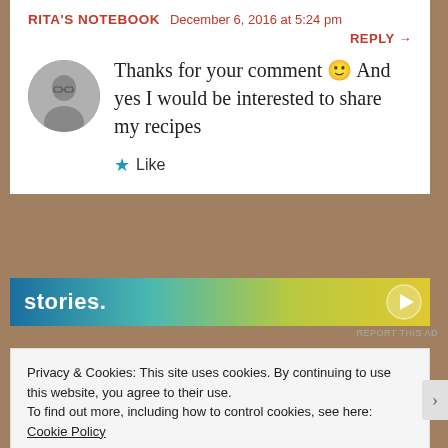RITA'S NOTEBOOK   December 6, 2016 at 5:24 pm
REPLY →
Thanks for your comment 🙂 And yes I would be interested to share my recipes
★ Like
[Figure (infographic): Advertisement banner with gradient from blue to yellow-green, showing partial text 'stories.' with a circular icon on the right]
REPORT THIS AD
Privacy & Cookies: This site uses cookies. By continuing to use this website, you agree to their use.
To find out more, including how to control cookies, see here: Cookie Policy
Close and accept